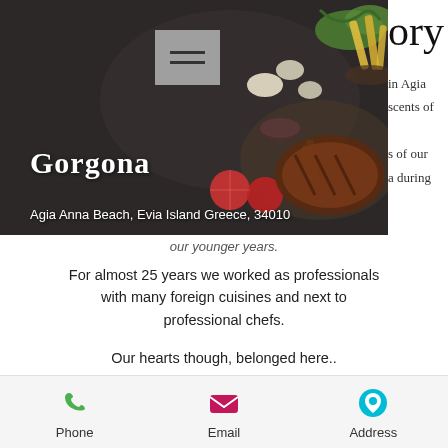[Figure (photo): Dark textured background with food ingredients (garlic, tomatoes, steak, fries, herbs) visible on right side. Restaurant hero image.]
Gorgona
Agia Anna Beach, Evia Island Greece, 34010
ory
in Agia
scents of
s of our
a during
our younger years.
For almost 25 years we worked as professionals with many foreign cuisines and next to professional chefs.
Our hearts though, belonged here..
To the cuisine of our country, of our island, the Greek one!
Our dream was to return back one day and create our own restaurant, with genuine Greek recipes, using only local traditional ingredients.
Phone  Email  Address